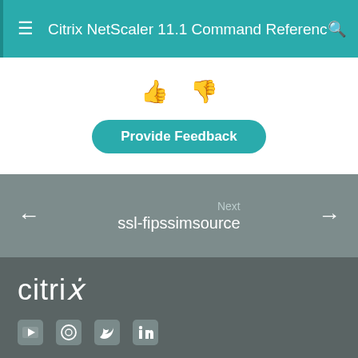Citrix NetScaler 11.1 Command Reference
[Figure (other): Thumbs up and thumbs down feedback icons]
Provide Feedback
Next
ssl-fipssimsource
[Figure (logo): Citrix logo in white text on dark grey background]
[Figure (other): Social media icons: YouTube, GitHub/Gitee, Twitter, LinkedIn]
Privacy and legal terms | Cookie preferences
© 1999-2021 Citrix Systems, Inc. All rights reserved.